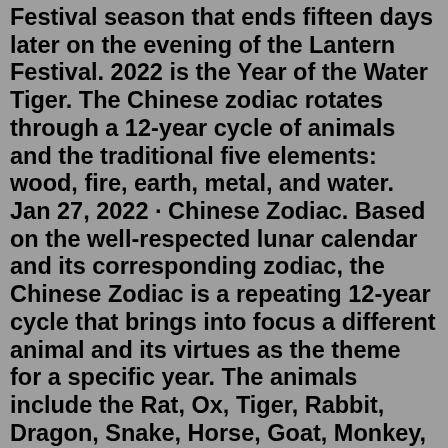Festival season that ends fifteen days later on the evening of the Lantern Festival. 2022 is the Year of the Water Tiger. The Chinese zodiac rotates through a 12-year cycle of animals and the traditional five elements: wood, fire, earth, metal, and water. Jan 27, 2022 · Chinese Zodiac. Based on the well-respected lunar calendar and its corresponding zodiac, the Chinese Zodiac is a repeating 12-year cycle that brings into focus a different animal and its virtues as the theme for a specific year. The animals include the Rat, Ox, Tiger, Rabbit, Dragon, Snake, Horse, Goat, Monkey, Rooster, Dog, and Pig respectively. Jan 27, 2022 · Chinese Zodiac. Based on the well-respected lunar calendar and its corresponding zodiac, the Chinese Zodiac is a repeating 12-year cycle that brings into focus a different animal and its virtues as the theme for a specific year. The animals include the Rat, Ox, Tiger, Rabbit, Dragon, Snake, Horse, Goat, Monkey, Rooster, Dog, and Pig respectively. Feb 04, 2022 · This week's celebration marked the end of the Year of the Ox and the start of the Year of the Tiger.